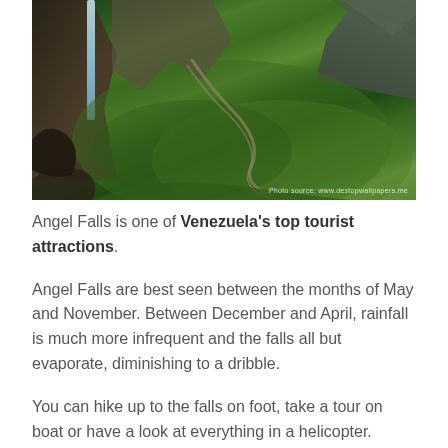[Figure (photo): Aerial view of Angel Falls waterfall on a tepui mesa in Venezuela, with lush green jungle below and dramatic rocky cliff faces. A winding path is visible on the slope. Photo source watermark: www.destopwallpapers.me]
Angel Falls is one of Venezuela's top tourist attractions.
Angel Falls are best seen between the months of May and November. Between December and April, rainfall is much more infrequent and the falls all but evaporate, diminishing to a dribble.
You can hike up to the falls on foot, take a tour on boat or have a look at everything in a helicopter.
Angel Falls inspired the setting of the Disney animated